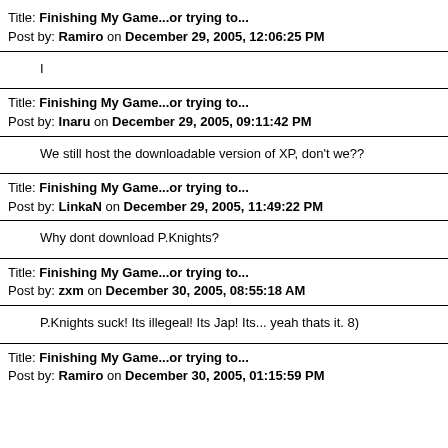Title: Finishing My Game...or trying to...
Post by: Ramiro on December 29, 2005, 12:06:25 PM
I
Title: Finishing My Game...or trying to...
Post by: Inaru on December 29, 2005, 09:11:42 PM
We still host the downloadable version of XP, don't we??
Title: Finishing My Game...or trying to...
Post by: LinkaN on December 29, 2005, 11:49:22 PM
Why dont download P.Knights?
Title: Finishing My Game...or trying to...
Post by: zxm on December 30, 2005, 08:55:18 AM
P.Knights suck! Its illegeal! Its Jap! Its... yeah thats it. 8)
Title: Finishing My Game...or trying to...
Post by: Ramiro on December 30, 2005, 01:15:59 PM